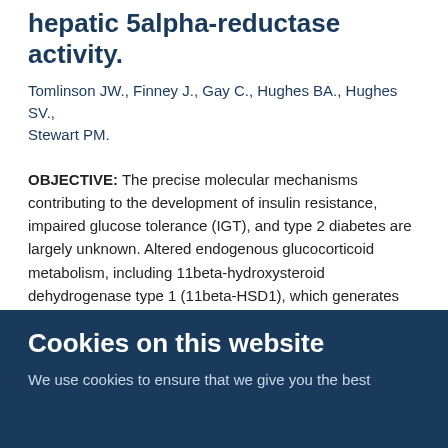hepatic 5alpha-reductase activity.
Tomlinson JW., Finney J., Gay C., Hughes BA., Hughes SV., Stewart PM.
OBJECTIVE: The precise molecular mechanisms contributing to the development of insulin resistance, impaired glucose tolerance (IGT), and type 2 diabetes are largely unknown. Altered endogenous glucocorticoid metabolism, including 11beta-hydroxysteroid dehydrogenase type 1 (11beta-HSD1), which generates active cortisol from cortisone, and 5alpha-reductase (5alphaR), which inactivates cortisol, has been implicated. RESEARCH DESIGN AND METHODS: A total of 101 obese patients (mean age 48 +/- 7 years, BMI 34.4 +/- 4.3 kg/m(2), 66 women, 35 men) underwent 75-g oral glucose tolerance testing (OGTT), body composition analysis (dual-
Cookies on this website
We use cookies to ensure that we give you the best